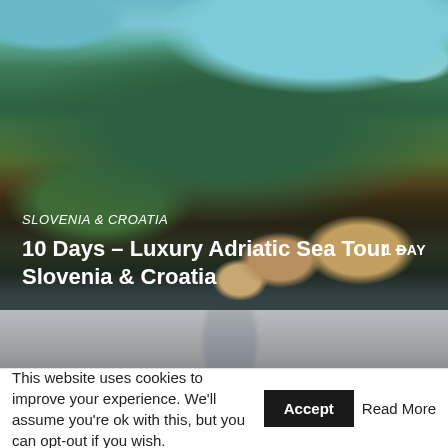[Figure (photo): Aerial photograph of a coastal landscape in Slovenia/Croatia, showing forested islands and peninsulas surrounded by turquoise Adriatic sea water, with ancient stone buildings/fortress visible among the trees. Text overlay includes destination label and tour title.]
[Figure (photo): Partial view of a sailboat mast and rigging against a grey/cloudy sky background.]
This website uses cookies to improve your experience. We'll assume you're ok with this, but you can opt-out if you wish. Accept Read More